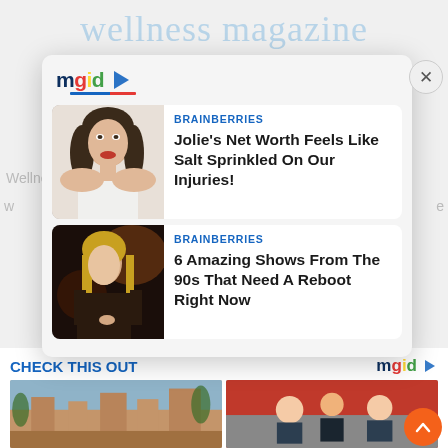[Figure (screenshot): Background wellness magazine website page partially visible behind an MGID ad modal overlay]
[Figure (screenshot): MGID ad widget modal with logo, close button, and two content recommendation cards]
BRAINBERRIES
Jolie's Net Worth Feels Like Salt Sprinkled On Our Injuries!
BRAINBERRIES
6 Amazing Shows From The 90s That Need A Reboot Right Now
CHECK THIS OUT
[Figure (screenshot): Two thumbnail images at the bottom: a castle/adobe building on the left, and a scene with people on the right]